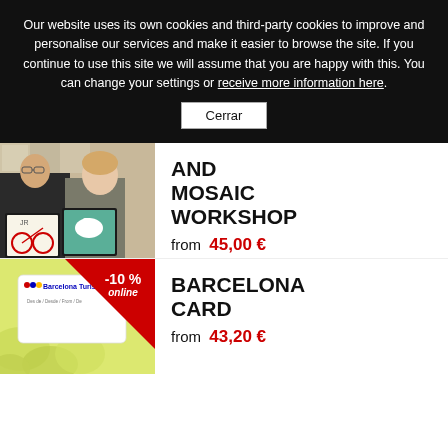Our website uses its own cookies and third-party cookies to improve and personalise our services and make it easier to browse the site. If you continue to use this site we will assume that you are happy with this. You can change your settings or receive more information here.
Cerrar
[Figure (photo): Man and girl smiling holding mosaic art pieces — a bicycle mosaic and a horse mosaic]
AND MOSAIC WORKSHOP
from  45,00 €
[Figure (photo): Barcelona Card with BarcelonaTurisme logo and -10% online red triangle banner badge, card on yellow-green background]
BARCELONA CARD
from  43,20 €